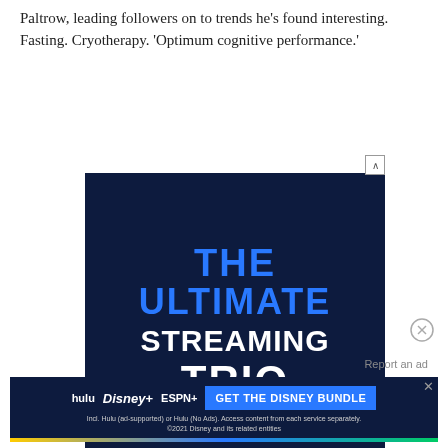Paltrow, leading followers on to trends he's found interesting. Fasting. Cryotherapy. 'Optimum cognitive performance.'
[Figure (screenshot): Advertisement banner with dark navy background showing 'THE ULTIMATE STREAMING TRIO' in bold blue and white text]
[Figure (screenshot): Disney Bundle advertisement showing Hulu, Disney+, and ESPN+ logos with 'GET THE DISNEY BUNDLE' button and fine print about ad-supported and no-ads options]